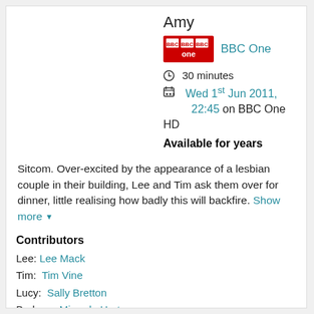Amy
[Figure (logo): BBC One red logo with white text]
BBC One
30 minutes
Wed 1st Jun 2011, 22:45 on BBC One HD
Available for years
Sitcom. Over-excited by the appearance of a lesbian couple in their building, Lee and Tim ask them over for dinner, little realising how badly this will backfire. Show more
Contributors
Lee: Lee Mack
Tim: Tim Vine
Lucy: Sally Bretton
Barbara: Miranda Hart